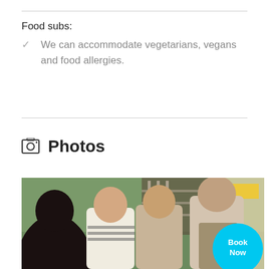Food subs:
We can accommodate vegetarians, vegans and food allergies.
Photos
[Figure (photo): A man in an apron speaking to a group of women in what appears to be a shop or kitchen. The background shows green walls and wooden shelving/stairs.]